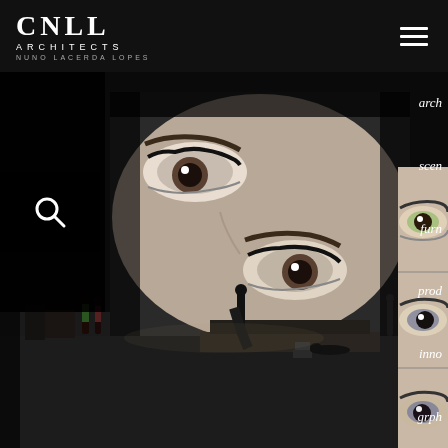CNLL ARCHITECTS NUNO LACERDA LOPES
[Figure (photo): Stage performance photo showing a large projected image of a woman's eyes on a screen behind performers on a theater stage. On the right side, a vertical strip shows a close-up of eyes. A search icon is visible on the left.]
arch scen furn prod inno grph